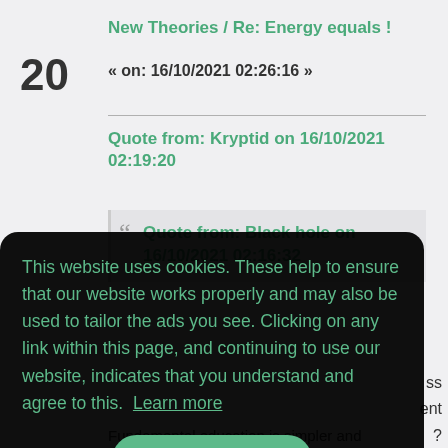20
New Theories / Re: Energy equals !
« on: 16/10/2021 02:26:16 »
Quote from: Kryptid on 16/10/2021 02:19:20
Quote from: Black hole on 16/10/2021 02:16:32
ss
ent
?
This website uses cookies. These help to ensure that our website works properly and may also be used to tailor the ads you see. Clicking on any link within this page, and continuing to use our website, indicates that you understand and agree to this.  Learn more
Got it!
Fundamental education is simpler and